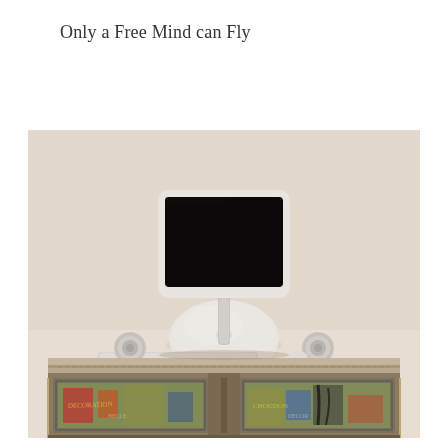Only a Free Mind can Fly
[Figure (photo): An iMac G4 computer with a dome-shaped base and flat screen monitor sitting on top of an ornate, distressed painted wooden console/sideboard. Two small round speakers flank the base. A keyboard is visible on the surface. The cabinet has colorful graffiti-style painted panels. The background wall is a warm beige/cream color.]